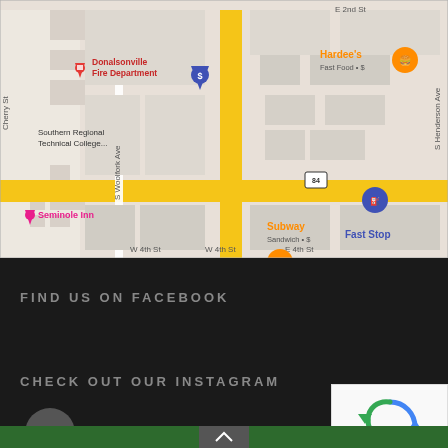[Figure (map): Google Maps screenshot showing downtown Donalsonville area with landmarks including Donalsonville Fire Department, Southern Regional Technical College, Seminole Inn, Hardee's Fast Food, Subway Sandwich, Fast Stop, PeoplesSouth Bank. Streets visible include Cherry St, S Woolfork Ave, S Henderson Ave, E 2nd St, W 4th St, E 4th St, with highway 84 running east-west.]
FIND US ON FACEBOOK
CHECK OUT OUR INSTAGRAM